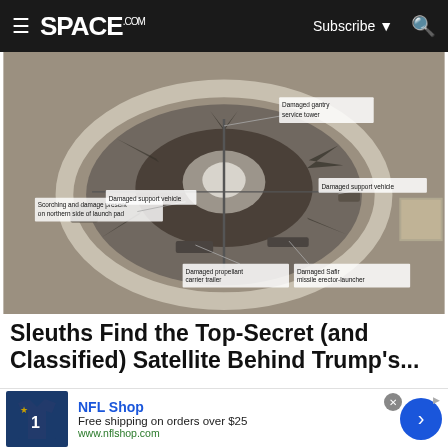SPACE.com — Subscribe — Search
[Figure (photo): Aerial satellite image of a damaged launch pad facility, annotated with labels: 'Scorching and damage present on northern side of launch pad', 'Damaged gantry service tower', 'Damaged support vehicle' (left), 'Damaged support vehicle' (right), 'Damaged propellant carrier trailer', 'Damaged Safir missile erector-launcher']
Sleuths Find the Top-Secret (and Classified) Satellite Behind Trump's...
[Figure (infographic): NFL Shop advertisement: NFL jersey image, 'NFL Shop', 'Free shipping on orders over $25', 'www.nflshop.com', blue arrow button on right]